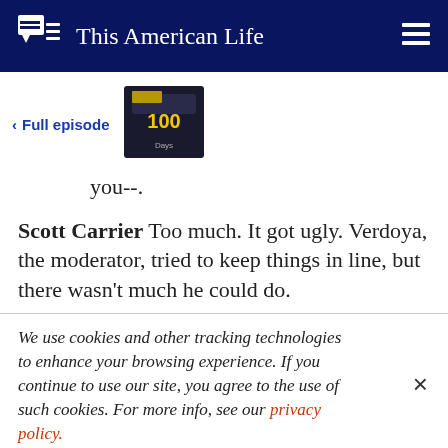This American Life
< Full episode
[Figure (photo): Thumbnail image of episode titled 'The First 100 Days' with dark background]
you--.
Scott Carrier  Too much. It got ugly. Verdoya, the moderator, tried to keep things in line, but there wasn't much he could do.
We use cookies and other tracking technologies to enhance your browsing experience. If you continue to use our site, you agree to the use of such cookies. For more info, see our privacy policy.
want to respond to that. I want to respond.